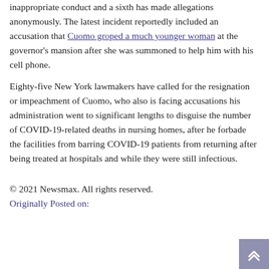inappropriate conduct and a sixth has made allegations anonymously. The latest incident reportedly included an accusation that Cuomo groped a much younger woman at the governor's mansion after she was summoned to help him with his cell phone.
Eighty-five New York lawmakers have called for the resignation or impeachment of Cuomo, who also is facing accusations his administration went to significant lengths to disguise the number of COVID-19-related deaths in nursing homes, after he forbade the facilities from barring COVID-19 patients from returning after being treated at hospitals and while they were still infectious.
© 2021 Newsmax. All rights reserved.
Originally Posted on: